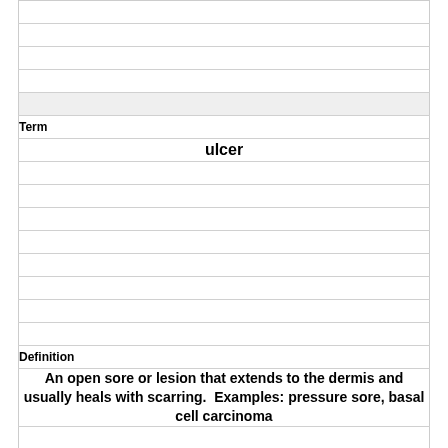| Term | Definition |
| --- | --- |
|  |  |
|  |  |
|  |  |
|  |  |
|  | (shaded) |
| Term |  |
| ulcer |  |
|  |  |
|  |  |
|  |  |
|  |  |
|  |  |
|  |  |
|  |  |
|  |  |
| Definition |  |
| An open sore or lesion that extends to the dermis and usually heals with scarring.  Examples: pressure sore, basal cell carcinoma |  |
|  |  |